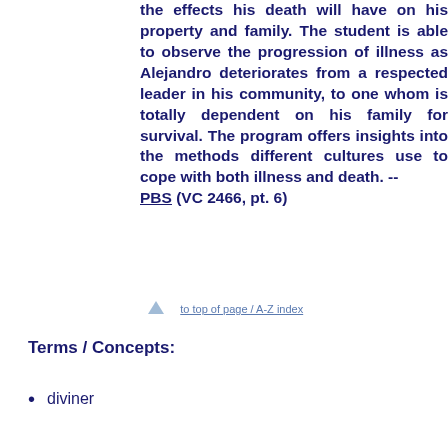the effects his death will have on his property and family. The student is able to observe the progression of illness as Alejandro deteriorates from a respected leader in his community, to one whom is totally dependent on his family for survival. The program offers insights into the methods different cultures use to cope with both illness and death. -- PBS (VC 2466, pt. 6)
to top of page / A-Z index
Terms / Concepts:
diviner